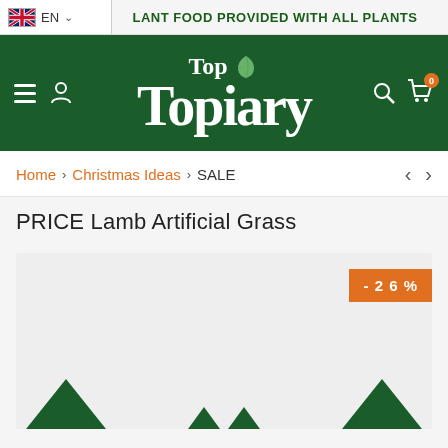PLANT FOOD PROVIDED WITH ALL PLANTS
[Figure (logo): Top Topiary logo — white text on dark green background with leaf icon]
Home > Christmas Ideas > SALE
PRICE Lamb Artificial Grass
[Figure (photo): Product image area with -26% sale badge in orange, dark green decorative triangles at bottom]
- 2 6 %